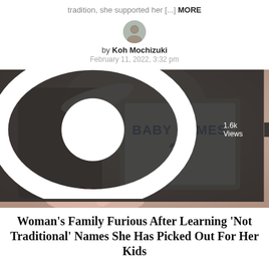tradition, she supported her [...] MORE
by Koh Mochizuki
February 11, 2022, 3:32 pm
[Figure (photo): Person holding open a book titled 'Baby Names' with a question mark on the cover. Red fingernails visible. Photo shows views badge '1.6k Views' and category badge 'FAMILY'.]
Woman's Family Furious After Learning 'Not Traditional' Names She Has Picked Out For Her Kids